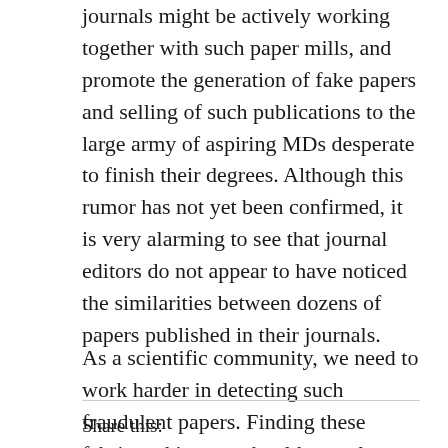journals might be actively working together with such paper mills, and promote the generation of fake papers and selling of such publications to the large army of aspiring MDs desperate to finish their degrees. Although this rumor has not yet been confirmed, it is very alarming to see that journal editors do not appear to have noticed the similarities between dozens of papers published in their journals.
As a scientific community, we need to work harder in detecting such fraudulent papers. Finding these fabricated images should not rely solely on the work of unpaid volunteers.
Share this: